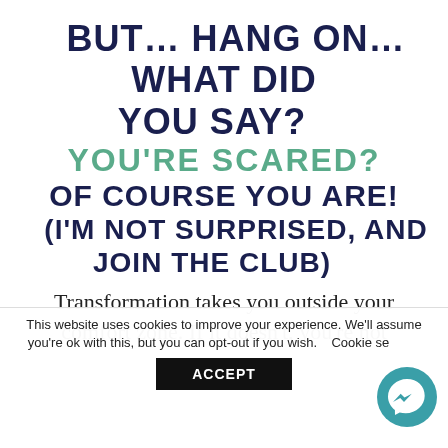BUT… HANG ON… WHAT DID YOU SAY?
YOU'RE SCARED?
OF COURSE YOU ARE!
(I'M NOT SURPRISED, AND JOIN THE CLUB)
Transformation takes you outside your comfort zone. If it doesn't, you're not
This website uses cookies to improve your experience. We'll assume you're ok with this, but you can opt-out if you wish.   Cookie settings   ACCEPT